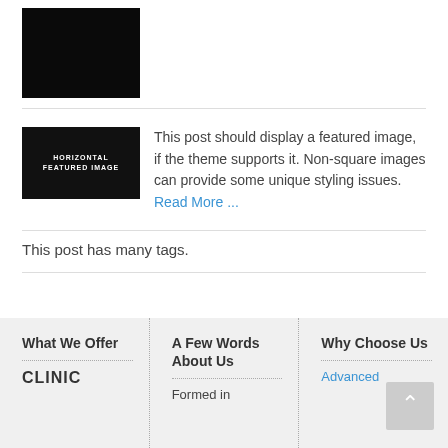[Figure (photo): Dark/black featured image thumbnail at the top left]
[Figure (photo): Dark image thumbnail with text HORIZONTAL FEATURED IMAGE]
This post should display a featured image, if the theme supports it. Non-square images can provide some unique styling issues. Read More ...
This post has many tags.
What We Offer
A Few Words About Us
Why Choose Us
CLINIC
Formed in
Advanced